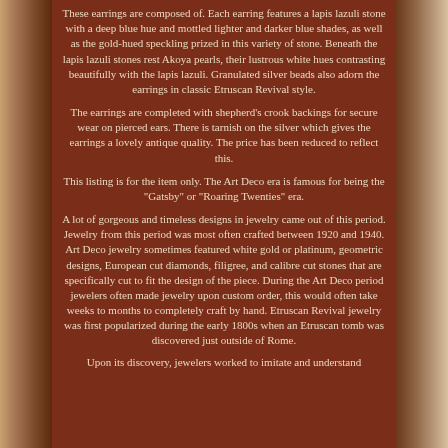These earrings are composed of. Each earring features a lapis lazuli stone with a deep blue hue and mottled lighter and darker blue shades, as well as the gold-hued speckling prized in this variety of stone. Beneath the lapis lazuli stones rest Akoya pearls, their lustrous white hues contrasting beautifully with the lapis lazuli. Granulated silver beads also adorn the earrings in classic Etruscan Revival style.
The earrings are completed with shepherd's crook backings for secure wear on pierced ears. There is tarnish on the silver which gives the earrings a lovely antique quality. The price has been reduced to reflect this.
This listing is for the item only. The Art Deco era is famous for being the "Gatsby" or "Roaring Twenties" era.
A lot of gorgeous and timeless designs in jewelry came out of this period. Jewelry from this period was most often crafted between 1920 and 1940. Art Deco jewelry sometimes featured white gold or platinum, geometric designs, European cut diamonds, filigree, and calibre cut stones that are specifically cut to fit the design of the piece. During the Art Deco period jewelers often made jewelry upon custom order, this would often take weeks to months to completely craft by hand. Etruscan Revival jewelry was first popularized during the early 1800s when an Etruscan tomb was discovered just outside of Rome.
Upon its discovery, jewelers worked to imitate and understand